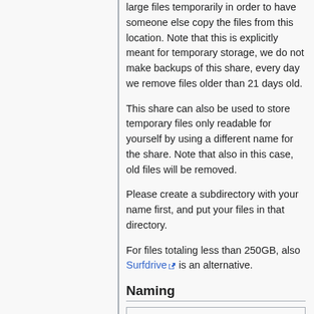large files temporarily in order to have someone else copy the files from this location. Note that this is explicitly meant for temporary storage, we do not make backups of this share, every day we remove files older than 21 days old.
This share can also be used to store temporary files only readable for yourself by using a different name for the share. Note that also in this case, old files will be removed.
Please create a subdirectory with your name first, and put your files in that directory.
For files totaling less than 250GB, also Surfdrive is an alternative.
Naming